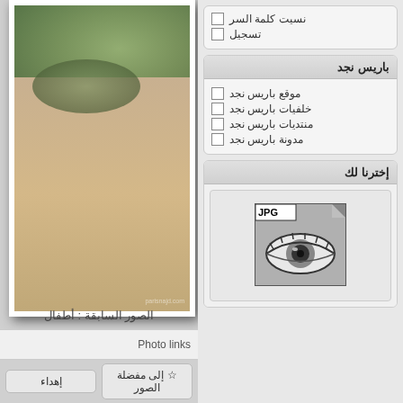[Figure (photo): Close-up photo of a person's eye area with olive/hazel eye and olive-toned skin, with a watermark 'parisnajd.com']
نسيت كلمة السر
تسجيل
باريس نجد
موقع باريس نجد
خلفيات باريس نجد
منتديات باريس نجد
مدونة باريس نجد
إخترنا لك
[Figure (photo): Black and white thumbnail image of a close-up eye, shown as a JPG file icon with a folded corner]
الصور السابقة : أطفال
Photo links
إلى مفضلة الصور
إهداء